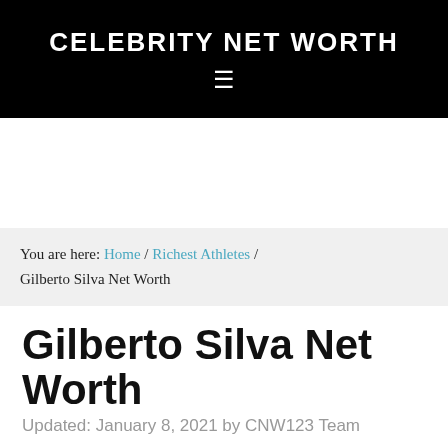CELEBRITY NET WORTH
You are here: Home / Richest Athletes / Gilberto Silva Net Worth
Gilberto Silva Net Worth
Updated: January 8, 2021 by CNW123 Team
If you're looking for Gilberto Silva's net